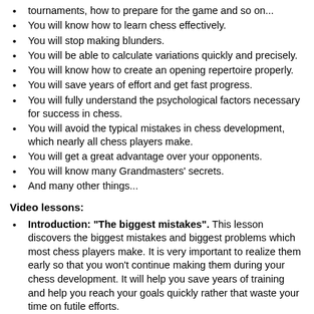tournaments, how to prepare for the game and so on...
You will know how to learn chess effectively.
You will stop making blunders.
You will be able to calculate variations quickly and precisely.
You will know how to create an opening repertoire properly.
You will save years of effort and get fast progress.
You will fully understand the psychological factors necessary for success in chess.
You will avoid the typical mistakes in chess development, which nearly all chess players make.
You will get a great advantage over your opponents.
You will know many Grandmasters' secrets.
And many other things...
Video lessons:
Introduction: "The biggest mistakes". This lesson discovers the biggest mistakes and biggest problems which most chess players make. It is very important to realize them early so that you won't continue making them during your chess development. It will help you save years of training and help you reach your goals quickly rather that waste your time on futile efforts.
Lesson-1.1: "How to play the game (strategy)".
Lesson-1.2: "How to play the game (tactics)". It is much more important to improve one's thinking process rather than get new pointless knowledge all the time. Improving of your thinking system allows you to find the best move in any position. In these lessons, I will be telling you exactly how Grandmasters think during a game of chess. You will get a clear system of thinking